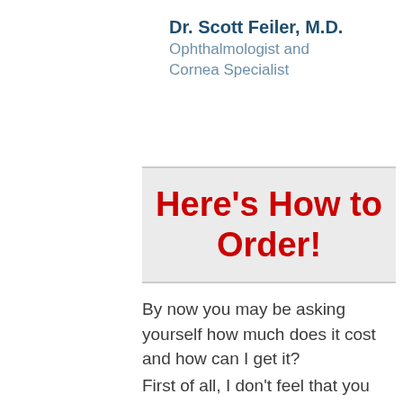Dr. Scott Feiler, M.D.
Ophthalmologist and Cornea Specialist
Here's How to Order!
By now you may be asking yourself how much does it cost and how can I get it?
First of all, I don't feel that you